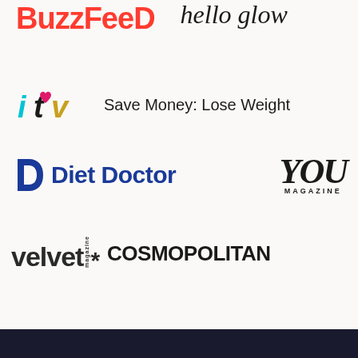[Figure (logo): BuzzFeed logo in red bold text]
[Figure (logo): hello glow logo in cursive script]
[Figure (logo): ITV logo with colored letters and Save Money: Lose Weight text]
[Figure (logo): Diet Doctor logo in blue with D icon]
[Figure (logo): YOU MAGAZINE logo in serif italic]
[Figure (logo): velvet magazine* logo in dark bold sans-serif]
[Figure (logo): COSMOPOLITAN logo in black bold caps]